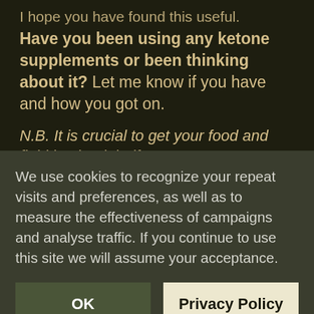I hope you have found this useful. Have you been using any ketone supplements or been thinking about it? Let me know if you have and how you got on.
N.B. It is crucial to get your food and fluid intake right if you want to
We use cookies to recognize your repeat visits and preferences, as well as to measure the effectiveness of campaigns and analyse traffic. If you continue to use this site we will assume your acceptance.
OK
Privacy Policy